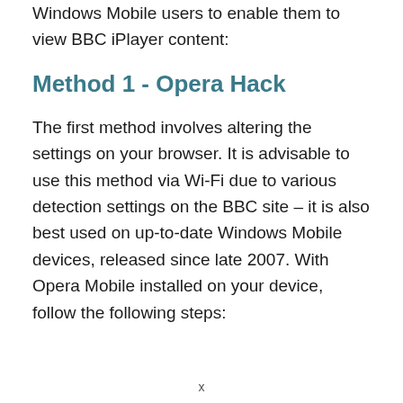Windows Mobile users to enable them to view BBC iPlayer content:
Method 1 - Opera Hack
The first method involves altering the settings on your browser. It is advisable to use this method via Wi-Fi due to various detection settings on the BBC site – it is also best used on up-to-date Windows Mobile devices, released since late 2007. With Opera Mobile installed on your device, follow the following steps:
x